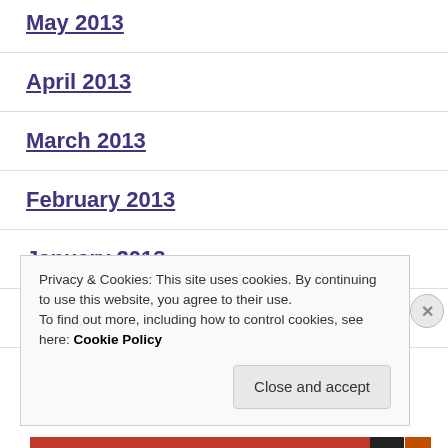May 2013
April 2013
March 2013
February 2013
January 2013
December 2012
Privacy & Cookies: This site uses cookies. By continuing to use this website, you agree to their use.
To find out more, including how to control cookies, see here: Cookie Policy
Close and accept